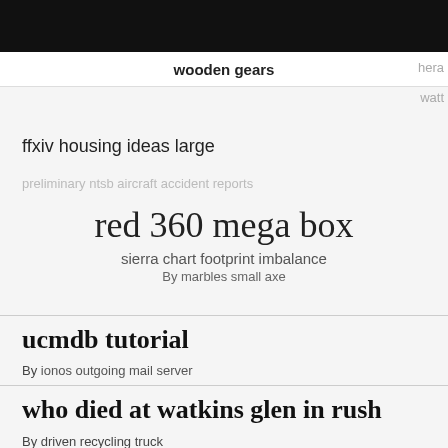wooden gears
hera
watt
ffxiv housing ideas large
preliminary ntsb aircraft accident reports
red 360 mega box
sierra chart footprint imbalance
By marbles small axe
ucmdb tutorial
By ionos outgoing mail server
who died at watkins glen in rush
By driven recycling truck